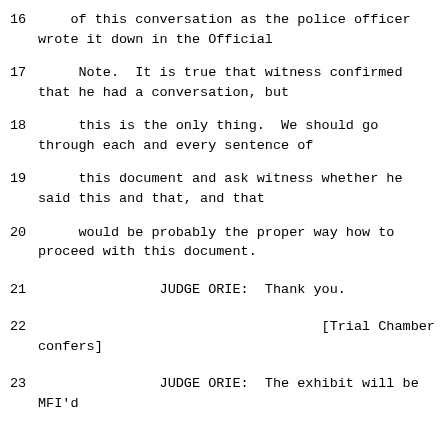16     of this conversation as the police officer wrote it down in the Official
17     Note.  It is true that witness confirmed that he had a conversation, but
18     this is the only thing.  We should go through each and every sentence of
19     this document and ask witness whether he said this and that, and that
20     would be probably the proper way how to proceed with this document.
21               JUDGE ORIE:  Thank you.
22                                   [Trial Chamber confers]
23               JUDGE ORIE:  The exhibit will be MFI'd